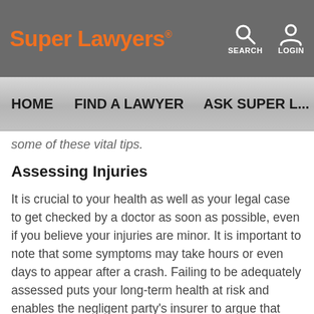Super Lawyers
HOME  FIND A LAWYER  ASK SUPER L...
some of these vital tips.
Assessing Injuries
It is crucial to your health as well as your legal case to get checked by a doctor as soon as possible, even if you believe your injuries are minor. It is important to note that some symptoms may take hours or even days to appear after a crash. Failing to be adequately assessed puts your long-term health at risk and enables the negligent party's insurer to argue that any injuries reported later were not caused by the crash. If you do not require an ambulance, it's still advisable to go to the nearest emergency room or urgent care center and explain in detail what happened and report any symptoms you may be experiencing.